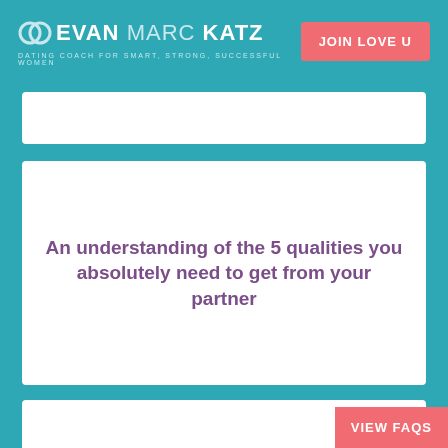EVAN MARC KATZ — DATING COACH FOR SMART, STRONG, SUCCESSFUL WOMEN | JOIN LOVE U
An understanding of the 5 qualities you absolutely need to get from your partner
In-depth knowledge of dating (offline and online) and how to find quality men when they...